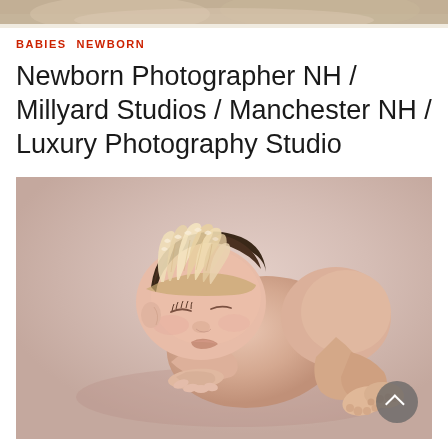[Figure (photo): Partial view of a newborn or baby photography image at top of page, showing warm beige/tan tones]
BABIES  NEWBORN
Newborn Photographer NH / Millyard Studios / Manchester NH / Luxury Photography Studio
[Figure (photo): Professional newborn photography image of a sleeping baby with a fluffy feather headband, curled in a fetal position on a pink/mauve background, with a scroll-up button overlay in the bottom right corner]